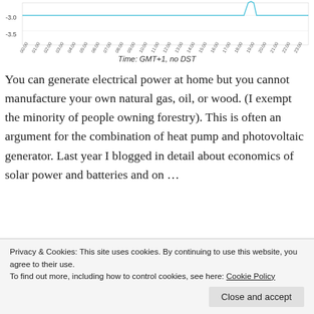[Figure (continuous-plot): Partial view of a time-series line chart with y-axis showing values -3.0 and -3.5, x-axis showing hours from 00:00 to 23:00 (GMT+1, no DST), with a cyan/light blue line spike visible near the 19:00-20:00 mark.]
Time: GMT+1, no DST
You can generate electrical power at home but you cannot manufacture your own natural gas, oil, or wood. (I exempt the minority of people owning forestry). This is often an argument for the combination of heat pump and photovoltaic generator. Last year I blogged in detail about economics of solar power and batteries and on …
Continue reading
Privacy & Cookies: This site uses cookies. By continuing to use this website, you agree to their use.
To find out more, including how to control cookies, see here: Cookie Policy
Close and accept